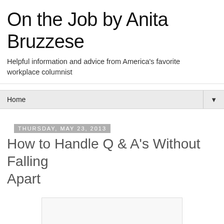On the Job by Anita Bruzzese
Helpful information and advice from America's favorite workplace columnist
Home ▼
Thursday, May 23, 2013
How to Handle Q & A's Without Falling Apart
[Figure (other): Embedded image placeholder, light gray rectangle with border]